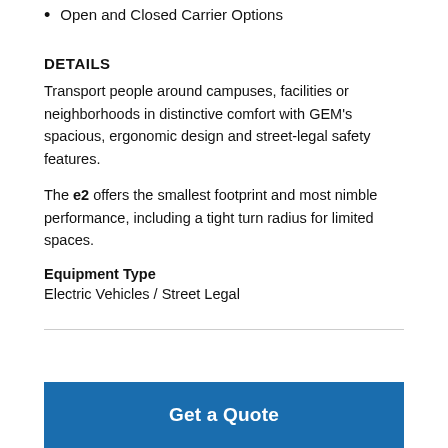Open and Closed Carrier Options
DETAILS
Transport people around campuses, facilities or neighborhoods in distinctive comfort with GEM's spacious, ergonomic design and street-legal safety features.
The e2 offers the smallest footprint and most nimble performance, including a tight turn radius for limited spaces.
Equipment Type
Electric Vehicles / Street Legal
Get a Quote